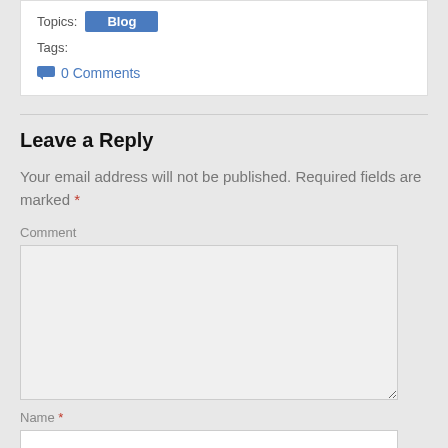Topics: Blog
Tags:
0 Comments
Leave a Reply
Your email address will not be published. Required fields are marked *
Comment
Name *